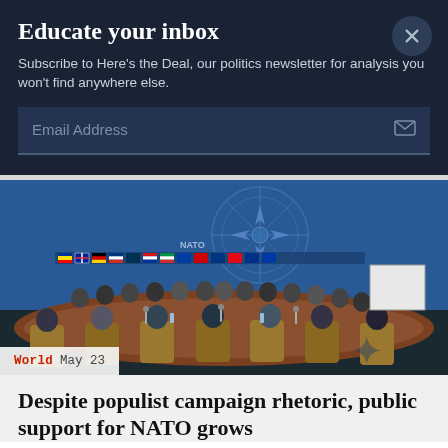Educate your inbox
Subscribe to Here's the Deal, our politics newsletter for analysis you won't find anywhere else.
Email Address
[Figure (photo): NATO meeting room with delegates seated around a large oval table, NATO logo visible on the blue backdrop with member country flags.]
World  May 23
Despite populist campaign rhetoric, public support for NATO grows